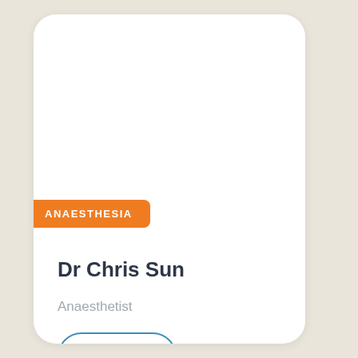ANAESTHESIA
Dr Chris Sun
Anaesthetist
WESTERN SYDNEY